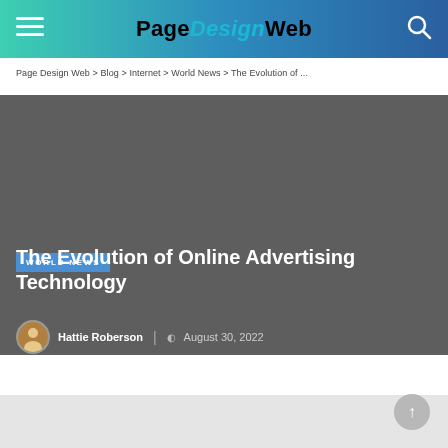PageDesignWeb
Page Design Web > Blog > Internet > World News > The Evolution of ...
[Figure (screenshot): Dark gray hero image area with a category badge 'WORLD NEWS' in blue]
The Evolution of Online Advertising Technology
Hattie Roberson | August 30, 2022